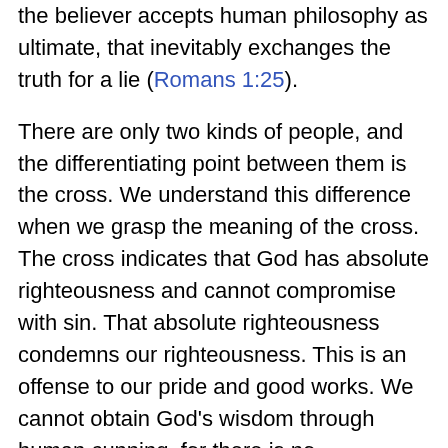the believer accepts human philosophy as ultimate, that inevitably exchanges the truth for a lie (Romans 1:25).
There are only two kinds of people, and the differentiating point between them is the cross. We understand this difference when we grasp the meaning of the cross. The cross indicates that God has absolute righteousness and cannot compromise with sin. That absolute righteousness condemns our righteousness. This is an offense to our pride and good works. We cannot obtain God's wisdom through human cunning, for there is no compromise in the cross. Those who perish take offense to the cross because it is the only way to heaven.
Now the Holy Spirit turns to argue extensively